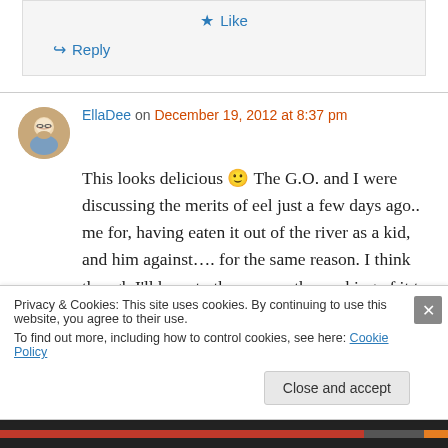Like
Reply
EllaDee on December 19, 2012 at 8:37 pm
This looks delicious 🙂 The G.O. and I were discussing the merits of eel just a few days ago.. me for, having eaten it out of the river as a kid, and him against…. for the same reason. I think though I'll have to throw over the cooking of it to
Privacy & Cookies: This site uses cookies. By continuing to use this website, you agree to their use.
To find out more, including how to control cookies, see here: Cookie Policy
Close and accept